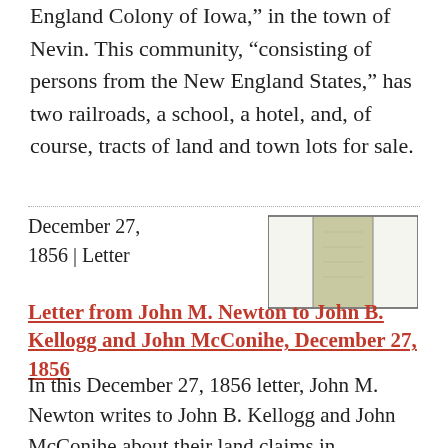England Colony of Iowa, in the town of Nevin. This community, "consisting of persons from the New England States," has two railroads, a school, a hotel, and, of course, tracts of land and town lots for sale.
[Figure (photo): Thumbnail image of a document or letter, showing a small rectangular image with greenish-tan coloring divided into three panels.]
December 27, 1856 | Letter
Letter from John M. Newton to John B. Kellogg and John McConihe, December 27, 1856
In this December 27, 1856 letter, John M. Newton writes to John B. Kellogg and John McConihe about their land claims in Nebraska. He notes that the leading men of the area have